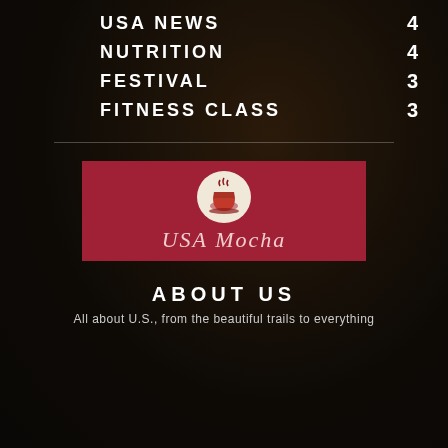USA NEWS 4
NUTRITION 4
FESTIVAL 3
FITNESS CLASS 3
[Figure (logo): USA Mocha logo: red/crimson rectangle with a circular coffee cup icon at top and cursive script 'USA Mocha' text below in light pink]
ABOUT US
All about U.S., from the beautiful trails to everything...